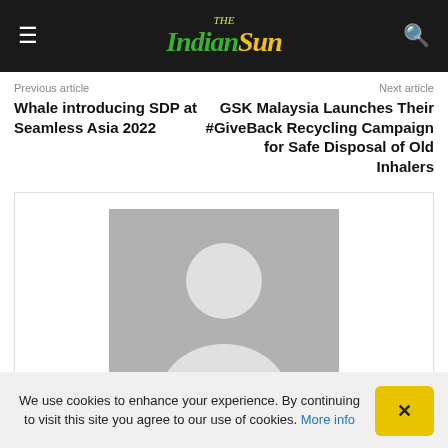The Indian Sun
Previous article
Whale introducing SDP at Seamless Asia 2022
Next article
GSK Malaysia Launches Their #GiveBack Recycling Campaign for Safe Disposal of Old Inhalers
[Figure (illustration): Default user avatar placeholder image — grey square with white silhouette of a person]
We use cookies to enhance your experience. By continuing to visit this site you agree to our use of cookies. More info